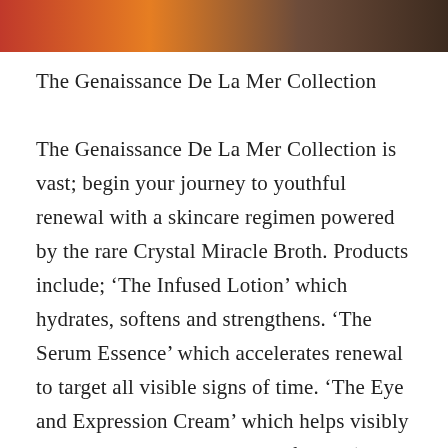[Figure (photo): Partial view of a warm-toned product or cosmetic image with red, orange, and dark brown gradient colors forming a strip at the top of the page.]
The Genaissance De La Mer Collection
The Genaissance De La Mer Collection is vast; begin your journey to youthful renewal with a skincare regimen powered by the rare Crystal Miracle Broth. Products include; ‘The Infused Lotion’ which hydrates, softens and strengthens. ‘The Serum Essence’ which accelerates renewal to target all visible signs of time. ‘The Eye and Expression Cream’ which helps visibly transcend virtually all signs of time. ‘The NEW Concentrated Night Balm’ which accelerates renewal to help skin rebuild its collagen and elastin so skin looks ageless. And finally, the